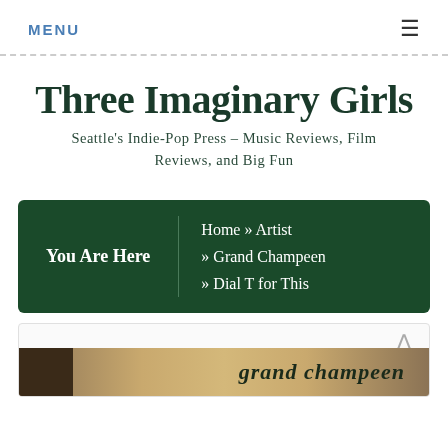MENU ≡
Three Imaginary Girls
Seattle's Indie-Pop Press – Music Reviews, Film Reviews, and Big Fun
You Are Here  Home » Artist » Grand Champeen » Dial T for This
[Figure (photo): Bottom portion showing album cover or artist image for Grand Champeen with text 'grand champeen' on a golden/tan background]